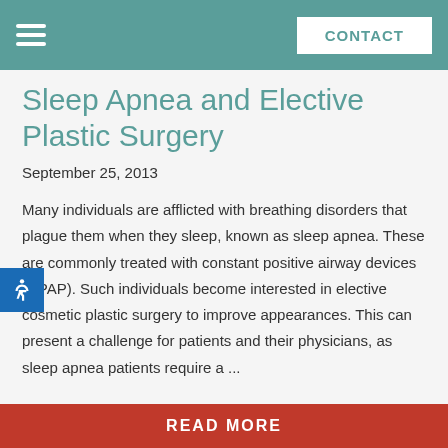CONTACT
Sleep Apnea and Elective Plastic Surgery
September 25, 2013
Many individuals are afflicted with breathing disorders that plague them when they sleep, known as sleep apnea. These are commonly treated with constant positive airway devices (CPAP). Such individuals become interested in elective cosmetic plastic surgery to improve appearances. This can present a challenge for patients and their physicians, as sleep apnea patients require a ...
READ MORE